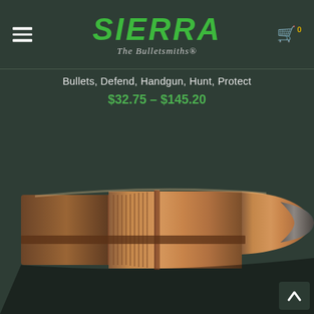[Figure (logo): Sierra Bullets logo with 'SIERRA' in green stylized text and 'The Bulletsmiths' tagline below]
Bullets, Defend, Handgun, Hunt, Protect
$32.75 – $145.20
[Figure (photo): Close-up photo of a copper/brass bullet (hollow point or soft point) lying on its side against a dark background, showing the grooved cannelure and exposed lead tip]